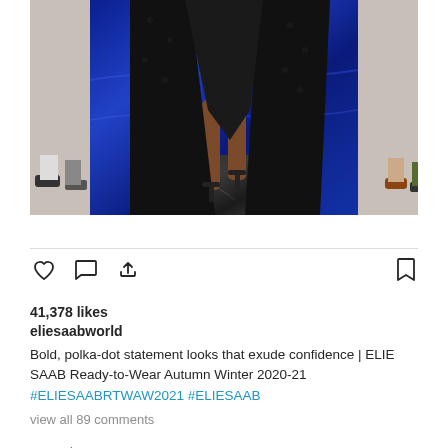[Figure (photo): Fashion runway photo showing a model from waist down wearing a flowing black gown with polka-dot overlay, walking on a blue and dark marble runway, with seated audience visible on both sides]
View more on Instagram
41,378 likes
eliesaabworld
Bold, polka-dot statement looks that exude confidence | ELIE SAAB Ready-to-Wear Autumn Winter 2020-21 #ELIESAABRTWAW2021 #ELIESAAB
view all 89 comments